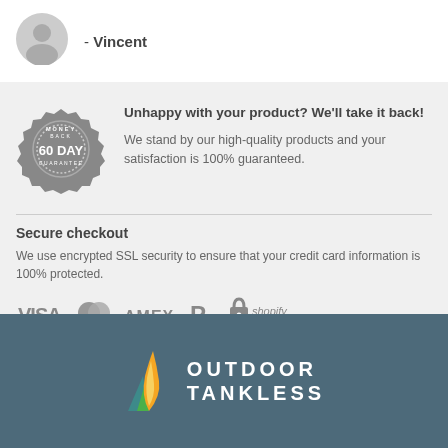[Figure (illustration): Grey circular avatar/profile silhouette icon]
- Vincent
[Figure (illustration): 60 Day Money-Back Guarantee badge/seal in dark grey]
Unhappy with your product? We'll take it back!
We stand by our high-quality products and your satisfaction is 100% guaranteed.
Secure checkout
We use encrypted SSL security to ensure that your credit card information is 100% protected.
[Figure (logo): Payment icons: VISA, Mastercard, AMEX, PayPal, Shopify Secure]
[Figure (logo): Outdoor Tankless flame logo with teal/orange/yellow colors and brand name OUTDOOR TANKLESS in white on dark teal background]